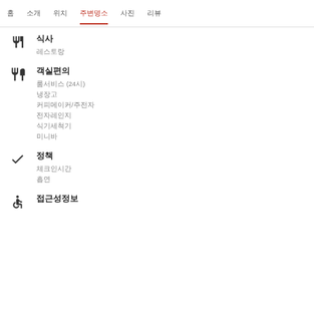홈  소개  위치  주변명소  사진  리뷰
식사
레스토랑
객실편의
룸서비스 (24시)
냉장고
커피메이커/주전자
전자레인지
식기세척기
미니바
정책
체크인시간
흡연
접근성정보